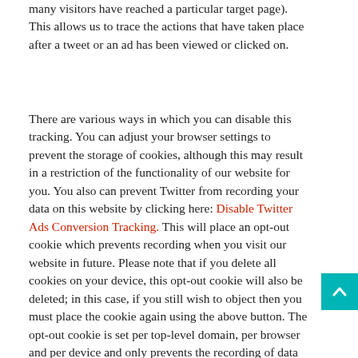many visitors have reached a particular target page). This allows us to trace the actions that have taken place after a tweet or an ad has been viewed or clicked on.
There are various ways in which you can disable this tracking. You can adjust your browser settings to prevent the storage of cookies, although this may result in a restriction of the functionality of our website for you. You also can prevent Twitter from recording your data on this website by clicking here: Disable Twitter Ads Conversion Tracking. This will place an opt-out cookie which prevents recording when you visit our website in future. Please note that if you delete all cookies on your device, this opt-out cookie will also be deleted; in this case, if you still wish to object then you must place the cookie again using the above button. The opt-out cookie is set per top-level domain, per browser and per device and only prevents the recording of data for this website. In addition, you can disable interest-based ads from providers who are part of the "YourAdChoices" self-regulation initiative (http://optout.aboutads.info/?c=2#!/) or e.g. part of the Network Advertising Initiative (http://optout.networkadvertising.org/?c=1#!/); please note